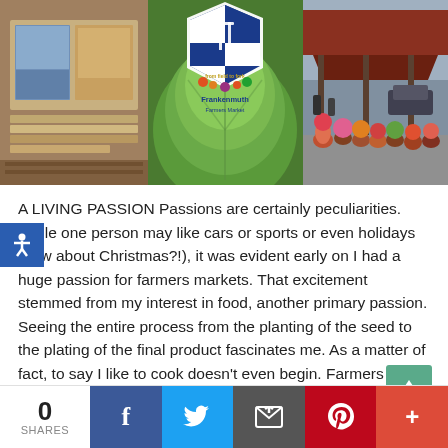[Figure (photo): Collage of three images: left shows books/postcards on a table, center shows green cabbage with Frankenmuth Farmers Market logo overlay ('from field to fork'), right shows a covered outdoor market with potted flowers and plants]
A LIVING PASSION Passions are certainly peculiarities. While one person may like cars or sports or even holidays (how about Christmas?!), it was evident early on I had a huge passion for farmers markets. That excitement stemmed from my interest in food, another primary passion. Seeing the entire process from the planting of the seed to the plating of the final product fascinates me. As a matter of fact, to say I like to cook doesn't even begin. Farmers markets
[Figure (infographic): Social share bar at the bottom: 0 SHARES, Facebook button (blue), Twitter button (light blue), Email button (gray), Pinterest button (red), More button (orange-red)]